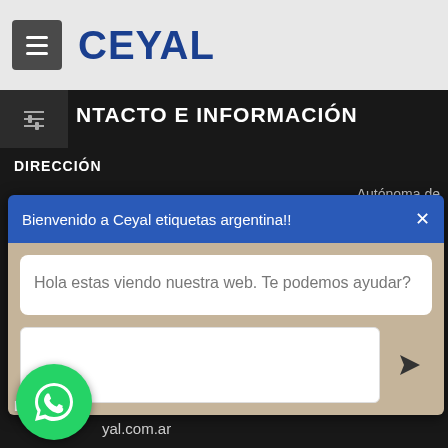CEYAL
NTACTO E INFORMACIÓN
DIRECCIÓN
Autónoma de
[Figure (screenshot): Chat popup widget with blue header 'Bienvenido a Ceyal etiquetas argentina!!' and message 'Hola estas viendo nuestra web. Te podemos ayudar?' with input field and send button]
E
yal.com.ar
[Figure (logo): Green WhatsApp circular button icon]